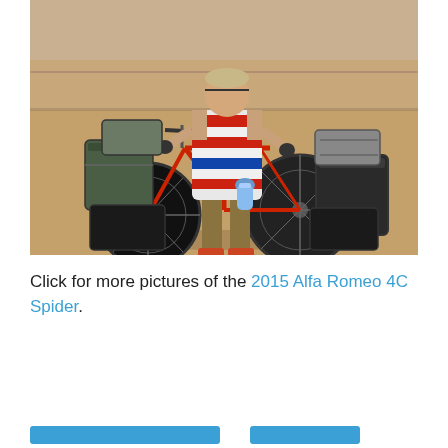[Figure (photo): A person wearing a red, white and blue striped sleeveless shirt and khaki shorts stands with a loaded touring bicycle on a roadway. The bicycle has multiple panniers and bags attached to the front and rear racks, and a water bottle on the frame. The background shows a paved road and sunlit ground.]
Click for more pictures of the 2015 Alfa Romeo 4C Spider.